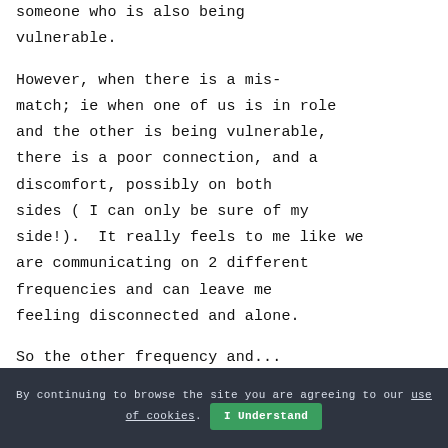someone who is also being vulnerable.

However, when there is a mis-match; ie when one of us is in role and the other is being vulnerable, there is a poor connection, and a discomfort, possibly on both sides ( I can only be sure of my side!).  It really feels to me like we are communicating on 2 different frequencies and can leave me feeling disconnected and alone.

So the other frequency and...
By continuing to browse the site you are agreeing to our use of cookies.  I Understand